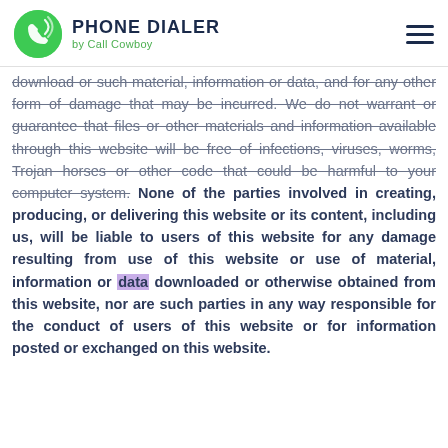PHONE DIALER by Call Cowboy
download or such material, information or data, and for any other form of damage that may be incurred. We do not warrant or guarantee that files or other materials and information available through this website will be free of infections, viruses, worms, Trojan horses or other code that could be harmful to your computer system. None of the parties involved in creating, producing, or delivering this website or its content, including us, will be liable to users of this website for any damage resulting from use of this website or use of material, information or data downloaded or otherwise obtained from this website, nor are such parties in any way responsible for the conduct of users of this website or for information posted or exchanged on this website.